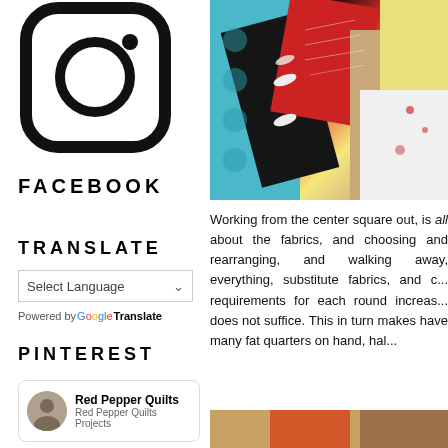[Figure (logo): Instagram logo icon in black outline on white background]
FACEBOOK
TRANSLATE
[Figure (screenshot): Select Language dropdown with Google Translate branding]
PINTEREST
[Figure (screenshot): Red Pepper Quilts Pinterest card with avatar]
[Figure (photo): Colorful patchwork quilt fabric photo showing various patterns in teal, black, red, yellow and beige]
Working from the center square out, is all about the fabrics, and choosing and rearranging, and walking away, everything, substitute fabrics, and c... requirements for each round increas... does not suffice. This in turn makes have many fat quarters on hand, hal...
[Figure (photo): Bottom quilt fabric photo]